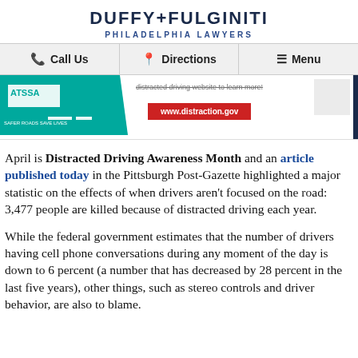DUFFY+FULGINITI
PHILADELPHIA LAWYERS
[Figure (screenshot): Navigation bar with Call Us, Directions, and Menu options on gray background]
[Figure (screenshot): ATSSA logo banner with distraction.gov red button and partial image on right]
April is Distracted Driving Awareness Month and an article published today in the Pittsburgh Post-Gazette highlighted a major statistic on the effects of when drivers aren't focused on the road: 3,477 people are killed because of distracted driving each year.
While the federal government estimates that the number of drivers having cell phone conversations during any moment of the day is down to 6 percent (a number that has decreased by 28 percent in the last five years), other things, such as stereo controls and driver behavior, are also to blame.